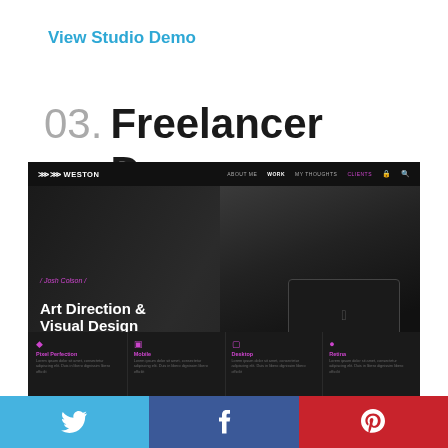View Studio Demo
03. Freelancer Demo
[Figure (screenshot): Weston freelancer website demo showing dark hero section with Josh Colson / Art Direction & Visual Design, navigation bar, and four feature icons: Pixel Perfection, Mobile, Desktop, Retina]
[Figure (infographic): Three social sharing buttons: Twitter (blue), Facebook (dark blue), Pinterest (red)]